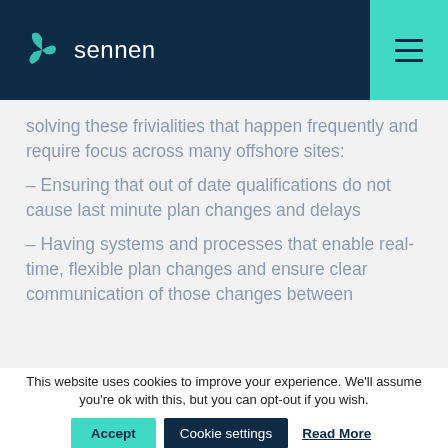sennen
solving these frivialities that happen frequently and require focus across many offshore sites:
– Ensuring that out of date qualifications do not cause last minute plan changes and delays
– Having systems and processes that enable real-time, flexible plan changes and ensure clear communication of those changes between
This website uses cookies to improve your experience. We'll assume you're ok with this, but you can opt-out if you wish.